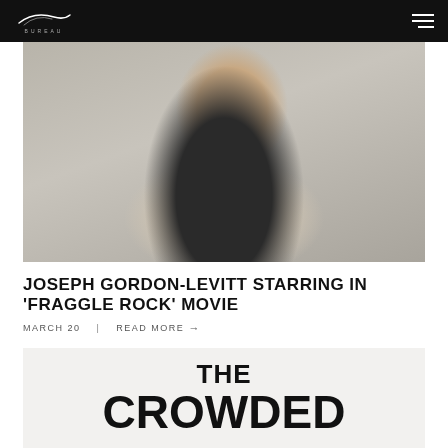BUREAU | Navigation bar with logo and hamburger menu
[Figure (photo): Portrait photo of Joseph Gordon-Levitt, a young man wearing a dark vest sweater over a light shirt with a dark tie, seated at a table, looking directly at camera with a neutral expression. Background appears to be an interior space.]
JOSEPH GORDON-LEVITT STARRING IN 'FRAGGLE ROCK' MOVIE
MARCH 20   |   READ MORE →
[Figure (other): Partial view of a second article image with large bold text reading 'THE CROWDED' on a light gray/off-white background]